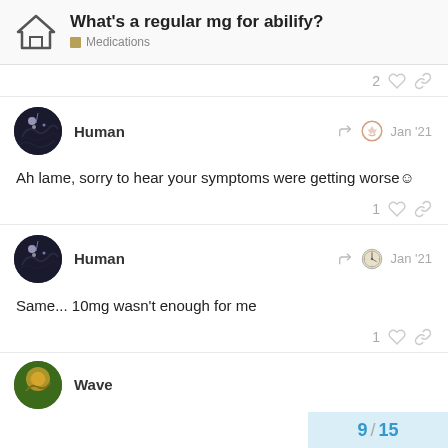What's a regular mg for abilify? | Medications
Ah lame, sorry to hear your symptoms were getting worse☺
Same... 10mg wasn't enough for me
Wave
9 / 15